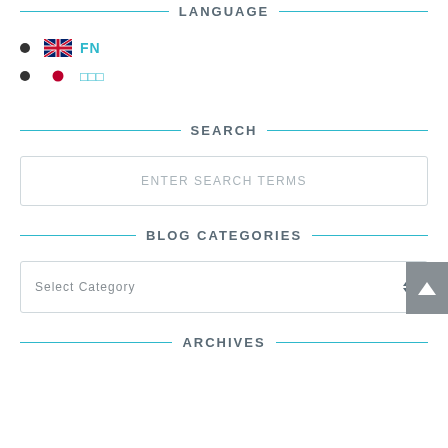LANGUAGE
FN
□□□
SEARCH
ENTER SEARCH TERMS
BLOG CATEGORIES
Select category
ARCHIVES